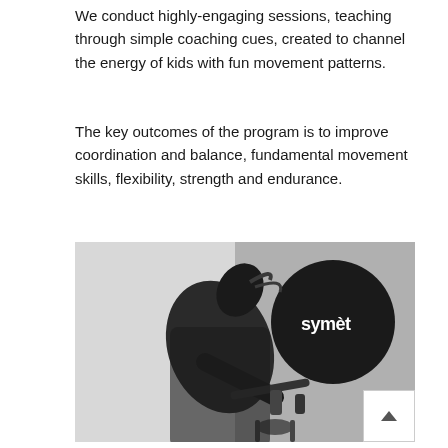We conduct highly-engaging sessions, teaching through simple coaching cues, created to channel the energy of kids with fun movement patterns.
The key outcomes of the program is to improve coordination and balance, fundamental movement skills, flexibility, strength and endurance.
[Figure (photo): Black and white photograph of a person leaning over bicycle handlebars, with a dark circular Symète brand logo visible in the background.]